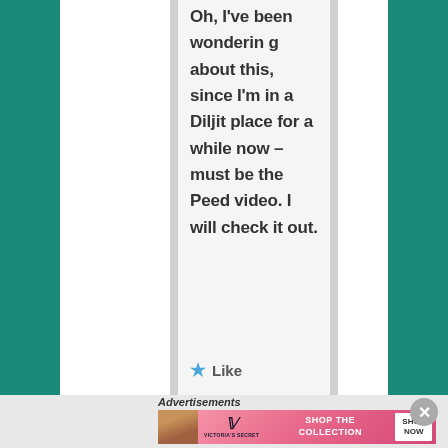Oh, I've been wondering about this, since I'm in a Diljit place for a while now – must be the Peed video. I will check it out.
Like
Advertisements
[Figure (photo): Victoria's Secret advertisement banner with model, VS logo, 'SHOP THE COLLECTION' text, and 'SHOP NOW' button]